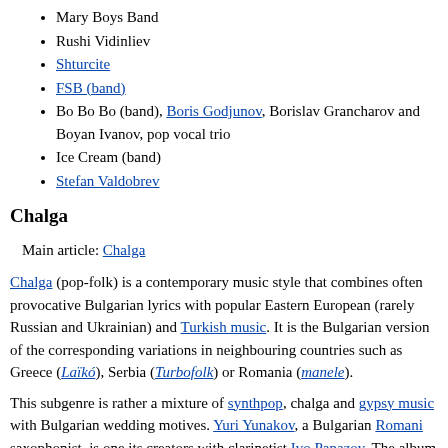Mary Boys Band
Rushi Vidinliev
Shturcite
FSB (band)
Bo Bo Bo (band), Boris Godjunov, Borislav Grancharov and Boyan Ivanov, pop vocal trio
Ice Cream (band)
Stefan Valdobrev
Chalga
Main article: Chalga
Chalga (pop-folk) is a contemporary music style that combines often provocative Bulgarian lyrics with popular Eastern European (rarely Russian and Ukrainian) and Turkish music. It is the Bulgarian version of the corresponding variations in neighbouring countries such as Greece (Laïkó), Serbia (Turbofolk) or Romania (manele).
This subgenre is rather a mixture of synthpop, chalga and gypsy music with Bulgarian wedding motives. Yuri Yunakov, a Bulgarian Romani saxophonist, is one its creators with clarinetist Ivo Papazov. The album New Colors in Bulgarian Wedding Music